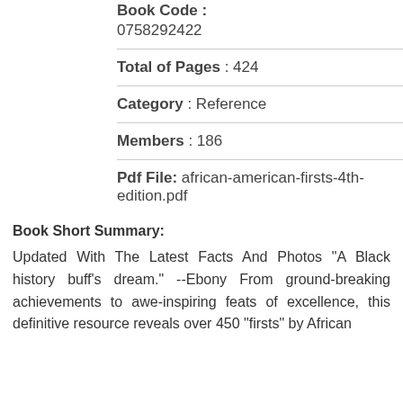Book Code : 0758292422
Total of Pages : 424
Category : Reference
Members : 186
Pdf File: african-american-firsts-4th-edition.pdf
Book Short Summary:
Updated With The Latest Facts And Photos "A Black history buff's dream." --Ebony From ground-breaking achievements to awe-inspiring feats of excellence, this definitive resource reveals over 450 "firsts" by African